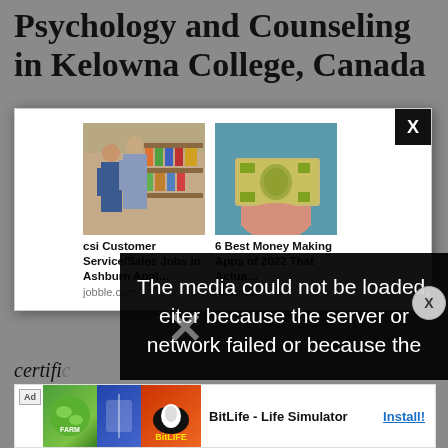Psychology and Counseling in Kelowna College, Canada
[Figure (screenshot): Advertisement popup modal with two ad cards: 'csi Customer Service/Sales Jobs in Ashburn Appl...' from jobble.com showing two people in a store, and '6 Best Money Making Apps of 2022 That Actua...' from Appurse showing a hand holding a $100 bill. Modal has an X close button in top right corner.]
[Figure (screenshot): Video player error overlay with dark background showing text: 'The media could not be loaded, either because the server or network failed or because the' with a large X cross icon]
certifi
[Figure (screenshot): Bottom banner advertisement for BitLife - Life Simulator app with green, blue, and orange app icon images, text 'BitLife - Life Simulator' and an 'Install!' button link. Includes 'Ad' badge label.]